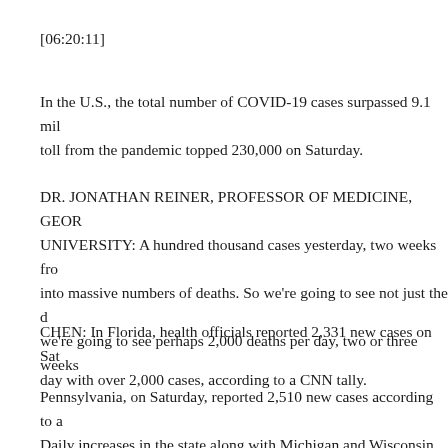[06:20:11]
In the U.S., the total number of COVID-19 cases surpassed 9.1 mil... toll from the pandemic topped 230,000 on Saturday.
DR. JONATHAN REINER, PROFESSOR OF MEDICINE, GEOR... UNIVERSITY: A hundred thousand cases yesterday, two weeks fro... into massive numbers of deaths. So we're going to see not just the d... we're going to see perhaps 2,000 deaths per day, two or three weeks...
CHEN: In Florida, health officials reported 2,331 new cases on Sat... day with over 2,000 cases, according to a CNN tally.
Pennsylvania, on Saturday, reported 2,510 new cases according to a... Daily increases in the state along with Michigan and Wisconsin we...